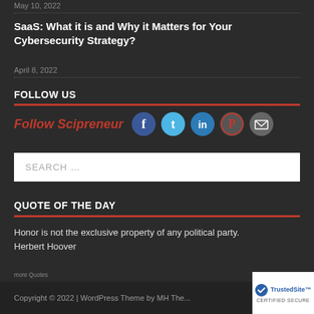May 10, 2022
SaaS: What it is and Why it Matters for Your Cybersecurity Strategy?
April 8, 2022
FOLLOW US
[Figure (other): Follow Scipreneur social media icons: Facebook, Twitter, LinkedIn, Pinterest, Email]
[Figure (other): Search input box with placeholder text SEARCH ...]
QUOTE OF THE DAY
Honor is not the exclusive property of any political party.
Herbert Hoover
more Quotes
Copyright © 2022 | WordPress Theme by MH The...